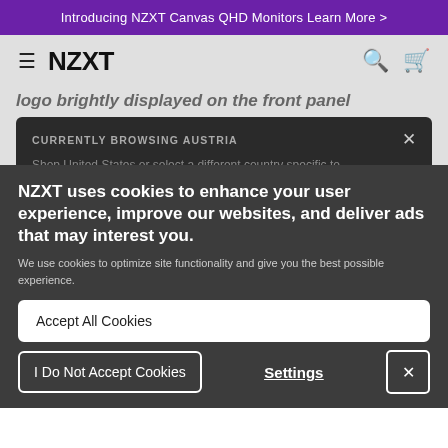Introducing NZXT Canvas QHD Monitors Learn More >
NZXT
logo brightly displayed on the front panel
CURRENTLY BROWSING AUSTRIA
Shop United States or select a different country specific to your location. ements to... t-pending agement system. Water-cooling ...all-in-one CPU coolers or custom loop configurations
NZXT uses cookies to enhance your user experience, improve our websites, and deliver ads that may interest you.
We use cookies to optimize site functionality and give you the best possible experience.
Accept All Cookies
I Do Not Accept Cookies
Settings